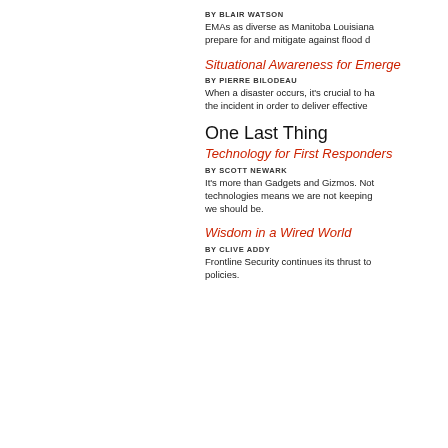BY BLAIR WATSON
EMAs as diverse as Manitoba Louisiana prepare for and mitigate against flood d
Situational Awareness for Emerge
BY PIERRE BILODEAU
When a disaster occurs, it's crucial to ha the incident in order to deliver effective
One Last Thing
Technology for First Responders
BY SCOTT NEWARK
It's more than Gadgets and Gizmos. Not technologies means we are not keeping we should be.
Wisdom in a Wired World
BY CLIVE ADDY
Frontline Security continues its thrust to policies.